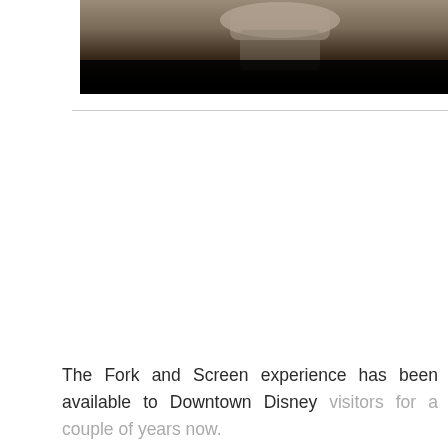[Figure (photo): A photo showing a partial view of a person or scene, dark background transitioning to near black at the bottom, visible at the top of the page]
The Fork and Screen experience has been available to Downtown Disney visitors for a couple of years now.